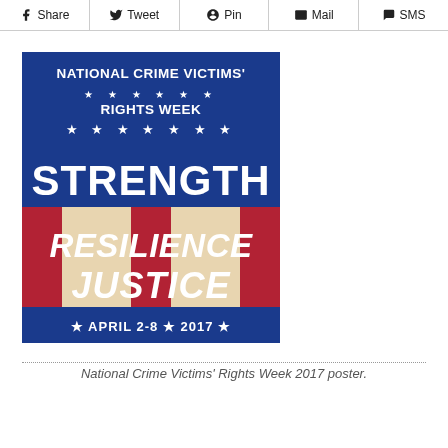Share | Tweet | Pin | Mail | SMS
[Figure (illustration): National Crime Victims' Rights Week 2017 poster. Blue background with white stars at top reading 'NATIONAL CRIME VICTIMS' RIGHTS WEEK'. Large white bold text 'STRENGTH' on blue background with stars. Below on cream/beige background with red stripes: 'RESILIENCE' and 'JUSTICE' in white bold italic text. Bottom blue banner reads 'APRIL 2-8 ★ 2017'.]
National Crime Victims' Rights Week 2017 poster.